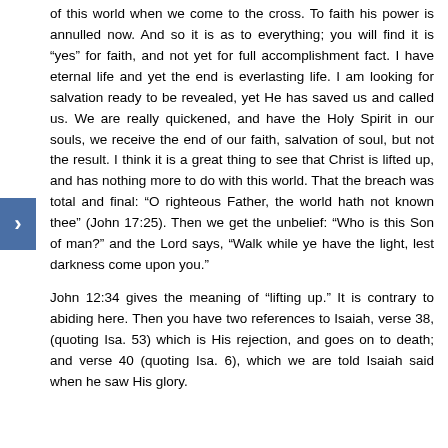of this world when we come to the cross. To faith his power is annulled now. And so it is as to everything; you will find it is “yes” for faith, and not yet for full accomplishment fact. I have eternal life and yet the end is everlasting life. I am looking for salvation ready to be revealed, yet He has saved us and called us. We are really quickened, and have the Holy Spirit in our souls, we receive the end of our faith, salvation of soul, but not the result. I think it is a great thing to see that Christ is lifted up, and has nothing more to do with this world. That the breach was total and final: “O righteous Father, the world hath not known thee” (John 17:25). Then we get the unbelief: “Who is this Son of man?” and the Lord says, “Walk while ye have the light, lest darkness come upon you.”
John 12:34 gives the meaning of “lifting up.” It is contrary to abiding here. Then you have two references to Isaiah, verse 38, (quoting Isa. 53) which is His rejection, and goes on to death; and verse 40 (quoting Isa. 6), which we are told Isaiah said when he saw His glory.